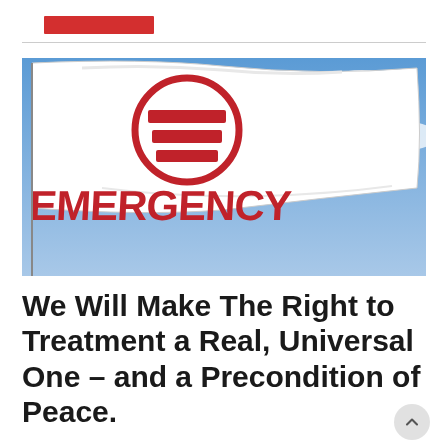[Figure (photo): A white flag with the EMERGENCY NGO logo — a red circle with two horizontal red bars inside — and the word EMERGENCY printed in large red letters on the lower portion. The flag is waving against a blue sky with white clouds.]
We Will Make The Right to Treatment a Real, Universal One – and a Precondition of Peace.